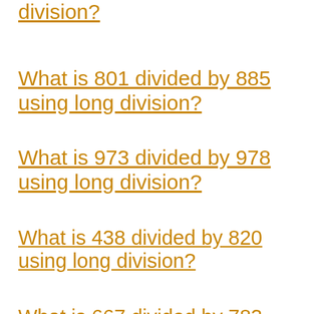division?
What is 801 divided by 885 using long division?
What is 973 divided by 978 using long division?
What is 438 divided by 820 using long division?
What is 667 divided by 783 using long division?
What is 270 divided by 348 using long division?